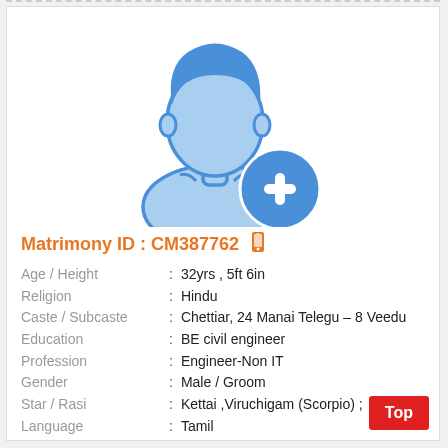[Figure (illustration): Generic male avatar silhouette in blue/light-blue with a blue circle plus icon overlay, indicating no photo uploaded.]
Matrimony ID : CM387762
Age / Height : 32yrs , 5ft 6in
Religion : Hindu
Caste / Subcaste : Chettiar, 24 Manai Telegu – 8 Veedu
Education : BE civil engineer
Profession : Engineer-Non IT
Gender : Male / Groom
Star / Rasi : Kettai ,Viruchigam (Scorpio) ;
Language : Tamil